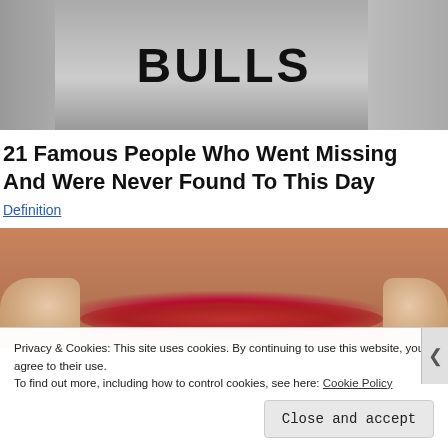[Figure (photo): Black and white photo of a person wearing a Chicago Bulls NBA jersey]
21 Famous People Who Went Missing And Were Never Found To This Day
Definition
[Figure (photo): Close-up color photo of a person's lips being held open by fingers on both sides]
Privacy & Cookies: This site uses cookies. By continuing to use this website, you agree to their use.
To find out more, including how to control cookies, see here: Cookie Policy
Close and accept